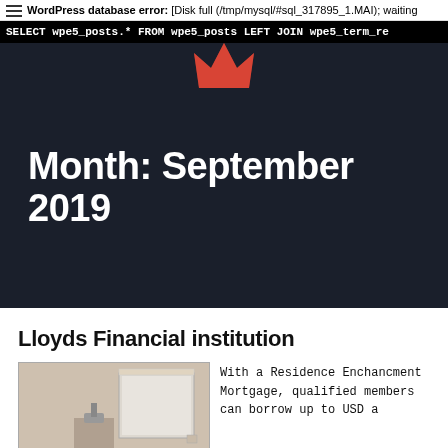WordPress database error: [Disk full (/tmp/mysql/#sql_317895_1.MAI); waiting
SELECT wpe5_posts.* FROM wpe5_posts LEFT JOIN wpe5_term_re
Month: September 2019
Lloyds Financial institution
[Figure (photo): Interior bathroom photo showing a mirror and fixtures against a beige wall]
With a Residence Enchancment Mortgage, qualified members can borrow up to USD a